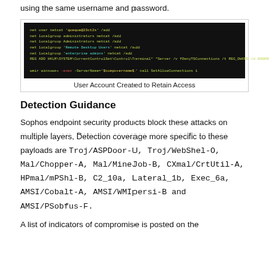using the same username and password.
[Figure (screenshot): Terminal/command prompt screenshot showing commands to create a user account 'netcat' and add it to various groups, plus a registry command and WMI command. Commands shown in white/yellow/green text on black background.]
User Account Created to Retain Access
Detection Guidance
Sophos endpoint security products block these attacks on multiple layers, Detection coverage more specific to these payloads are Troj/ASPDoor-U, Troj/WebShel-O, Mal/Chopper-A, Mal/MineJob-B, CXmal/CrtUtil-A, HPmal/mPShl-B, C2_10a, Lateral_1b, Exec_6a, AMSI/Cobalt-A, AMSI/WMIpersi-B and AMSI/PSobfus-F.
A list of indicators of compromise is posted on the